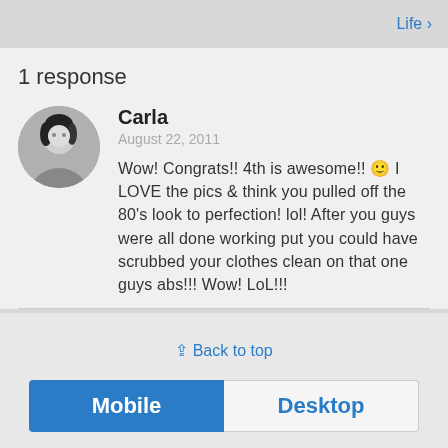Life ›
1 response
[Figure (photo): Circular avatar photo of Carla, a woman with dark hair, black and white/grayscale style]
Carla
August 22, 2011
Wow! Congrats!! 4th is awesome!! 🙂 I LOVE the pics & think you pulled off the 80's look to perfection! lol! After you guys were all done working put you could have scrubbed your clothes clean on that one guys abs!!! Wow! LoL!!!
⇪ Back to top
Mobile   Desktop